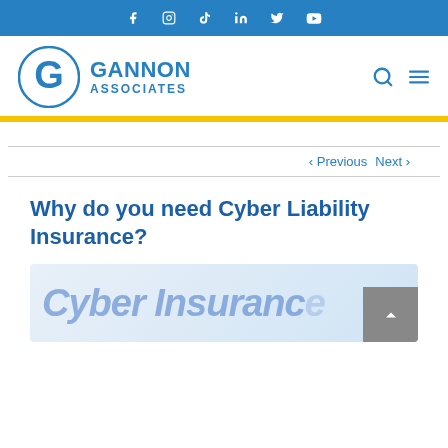Social media links: Facebook, Instagram, TikTok, LinkedIn, Twitter, YouTube
[Figure (logo): Gannon Associates logo — circular G icon with GANNON ASSOCIATES text in blue]
< Previous   Next >
Why do you need Cyber Liability Insurance?
[Figure (photo): Cyber Insurance banner image with stylized text 'Cyber Insurance' in blue over a light background with a magnifying glass graphic]